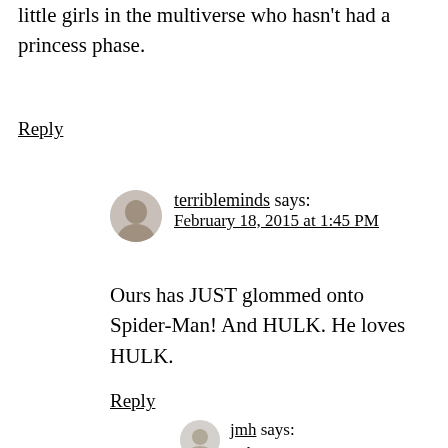little girls in the multiverse who hasn't had a princess phase.
Reply
terribleminds says: February 18, 2015 at 1:45 PM
Ours has JUST glommed onto Spider-Man! And HULK. He loves HULK.
Reply
jmh says: February 20, 2015 at 12:36 AM
Spider-Man is the best! I